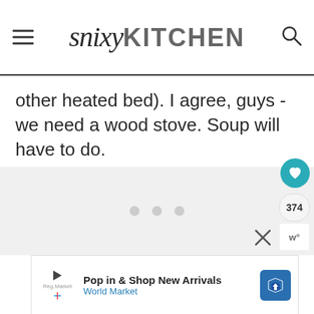snixykitchen
other heated bed). I agree, guys - we need a wood stove. Soup will have to do.
[Figure (screenshot): Ad slot placeholder with three grey dots indicating loading content]
[Figure (infographic): Advertisement banner: Pop in & Shop New Arrivals - World Market with play button icon and blue arrow logo]